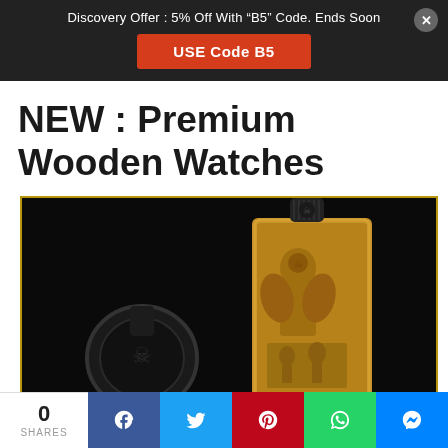Discovery Offer : 5% Off With “B5” Code. Ends Soon
USE Code B5
NEW : Premium Wooden Watches
[Figure (photo): Two ornate premium wooden watches with intricate carved designs on a dark background, one with a round face and the other upright showing detailed carvings.]
0 SHARES